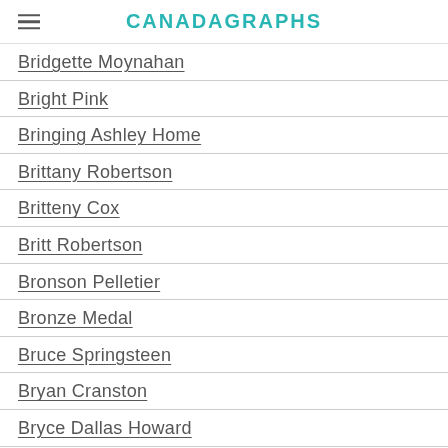CANADAGRAPHS
Bridgette Moynahan
Bright Pink
Bringing Ashley Home
Brittany Robertson
Britteny Cox
Britt Robertson
Bronson Pelletier
Bronze Medal
Bruce Springsteen
Bryan Cranston
Bryce Dallas Howard
Burn Notice
Buster Bluth
Calling Bullshit
Callum Blue